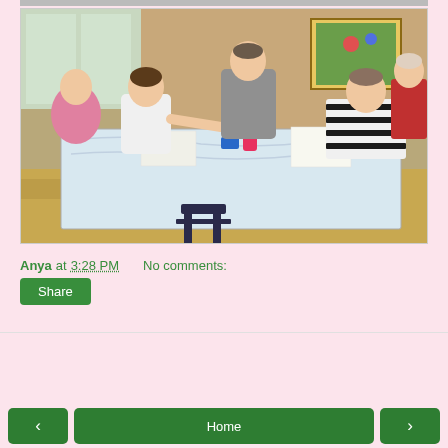[Figure (photo): People working around a table covered with a white plastic sheet in what appears to be a community hall or school. Several adults are leaning over the table, appearing to work on a craft or art project. There is a pink water bottle, art supplies, and papers on the table. A framed painting is visible on the brick wall in the background.]
Anya at 3:28 PM    No comments:
Share
‹
Home
›